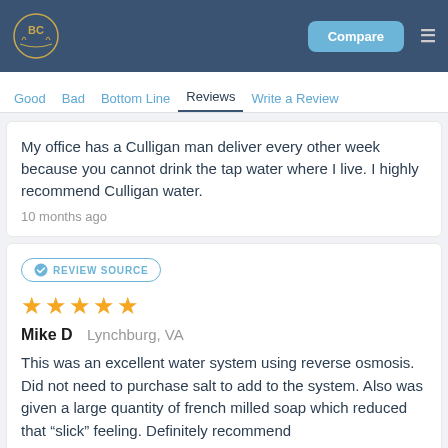BC logo | Compare | Menu
Good | Bad | Bottom Line | Reviews | Write a Review
My office has a Culligan man deliver every other week because you cannot drink the tap water where I live. I highly recommend Culligan water.
10 months ago
REVIEW SOURCE
★★★★★
Mike D  Lynchburg, VA
This was an excellent water system using reverse osmosis. Did not need to purchase salt to add to the system. Also was given a large quantity of french milled soap which reduced that "slick" feeling. Definitely recommend